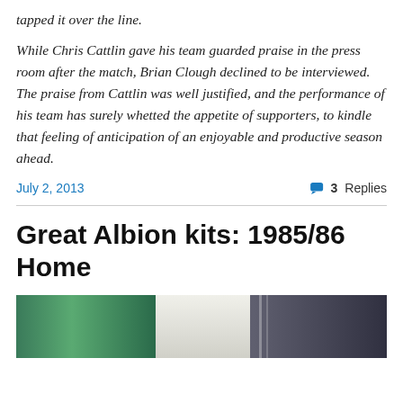tapped it over the line.
While Chris Cattlin gave his team guarded praise in the press room after the match, Brian Clough declined to be interviewed. The praise from Cattlin was well justified, and the performance of his team has surely whetted the appetite of supporters, to kindle that feeling of anticipation of an enjoyable and productive season ahead.
July 2, 2013
3 Replies
Great Albion kits: 1985/86 Home
[Figure (photo): Partial photo showing what appears to be football/soccer jerseys or kits, with green and white coloring visible]